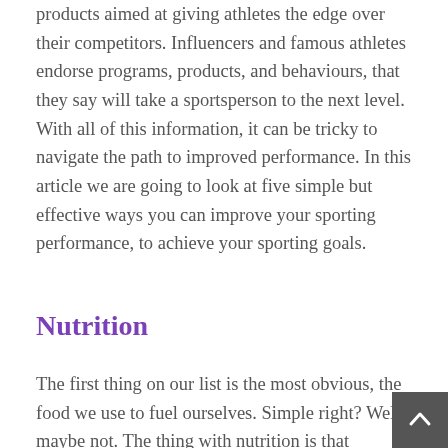products aimed at giving athletes the edge over their competitors. Influencers and famous athletes endorse programs, products, and behaviours, that they say will take a sportsperson to the next level. With all of this information, it can be tricky to navigate the path to improved performance. In this article we are going to look at five simple but effective ways you can improve your sporting performance, to achieve your sporting goals.
Nutrition
The first thing on our list is the most obvious, the food we use to fuel ourselves. Simple right? Well maybe not. The thing with nutrition is that different individuals have different needs. There's no such thing as a universal sporting diet. Many factors make up an